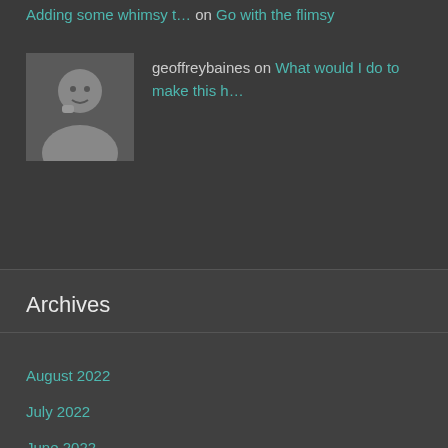Adding some whimsy t… on Go with the flimsy
geoffreybaines on What would I do to make this h…
Archives
August 2022
July 2022
June 2022
May 2022
April 2022
March 2022
February 2022
January 2022
December 2021